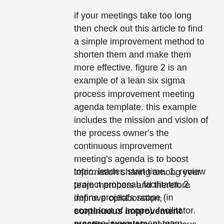if your meetings take too long then check out this article to find a simple improvement method to shorten them and make them more effective. figure 2 is an example of a lean six sigma process improvement meeting agenda template. this example includes the mission and vision of the process owner's the continuous improvement meeting's agenda is to boost information sharing among your team members and therefore improve collaboration, continuous improvement meeting template, continuous improvement meeting template, process improvement parameters, process improvement team example, process improvement team roles and responsibilities.
topic. leader. start time. 1. review project proposal. facilitator. 2. define project's scope (in scope/out of scope). facilitator. process improvement team initiation explanation of the background of the charter by the champion. discussion and clarification of the charter, inclusion of committee...